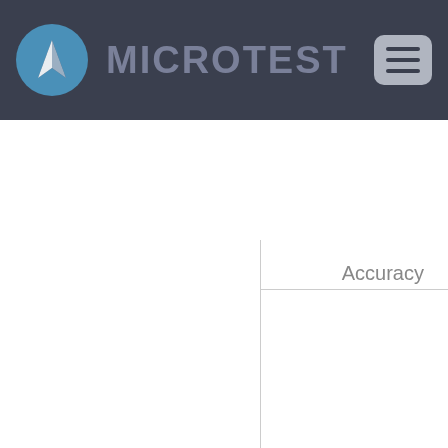[Figure (logo): Microtest logo with triangular sail icon in a blue circle and MICROTEST brand name in gray on dark navy background, with hamburger menu button on the right]
|  | Accuracy | Test Signal Current Level | Current Minimum Resolution | Accuracy |
| --- | --- | --- | --- | --- |
|  |  |  |  |  |